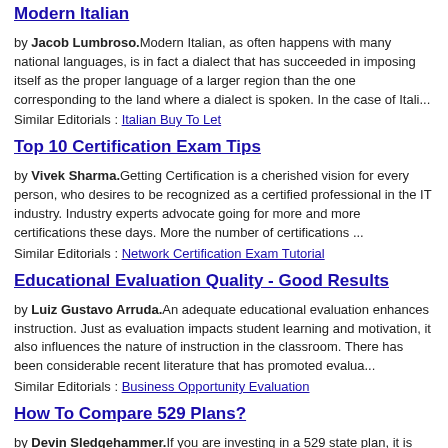Modern Italian
by Jacob Lumbroso.Modern Italian, as often happens with many national languages, is in fact a dialect that has succeeded in imposing itself as the proper language of a larger region than the one corresponding to the land where a dialect is spoken. In the case of Itali...
Similar Editorials : Italian Buy To Let
Top 10 Certification Exam Tips
by Vivek Sharma.Getting Certification is a cherished vision for every person, who desires to be recognized as a certified professional in the IT industry. Industry experts advocate going for more and more certifications these days. More the number of certifications ...
Similar Editorials : Network Certification Exam Tutorial
Educational Evaluation Quality - Good Results
by Luiz Gustavo Arruda.An adequate educational evaluation enhances instruction. Just as evaluation impacts student learning and motivation, it also influences the nature of instruction in the classroom. There has been considerable recent literature that has promoted evalua...
Similar Editorials : Business Opportunity Evaluation
How To Compare 529 Plans?
by Devin Sledgehammer.If you are investing in a 529 state plan, it is easy to compare. The reason is that American citizens are allowed to take any state plan, and then they can even switch between plans if they want to. That is the reason everyone wants to compare 529 pl...
Similar Editorials : Compare Different Company